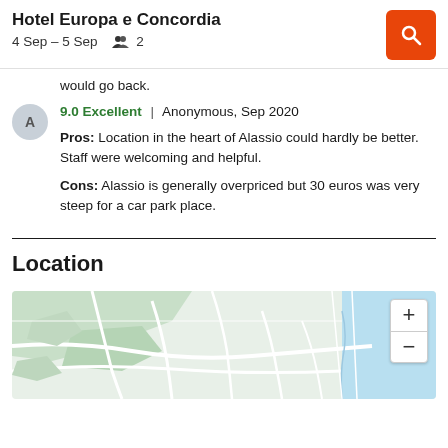Hotel Europa e Concordia | 4 Sep – 5 Sep  2
would go back.
9.0 Excellent | Anonymous, Sep 2020
Pros: Location in the heart of Alassio could hardly be better. Staff were welcoming and helpful.
Cons: Alassio is generally overpriced but 30 euros was very steep for a car park place.
Location
[Figure (map): Street map showing Alassio area with green land areas, white roads, and blue sea/water at right edge. Map zoom controls (+/-) visible in upper right corner.]